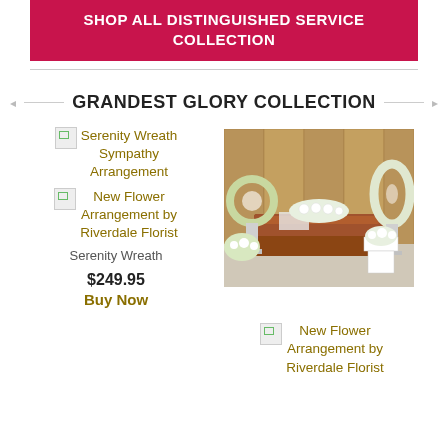SHOP ALL DISTINGUISHED SERVICE COLLECTION
GRANDEST GLORY COLLECTION
Serenity Wreath Sympathy Arrangement
New Flower Arrangement by Riverdale Florist
Serenity Wreath
$249.95
Buy Now
[Figure (photo): Funeral flower arrangement with casket, wreaths, and floral sprays in a chapel setting]
New Flower Arrangement by Riverdale Florist